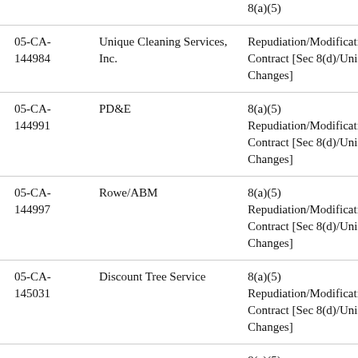| Case Number | Respondent | Allegation Type |
| --- | --- | --- |
| 05-CA-144984 | Unique Cleaning Services, Inc. | 8(a)(5) Repudiation/Modification of Contract [Sec 8(d)/Unilateral Changes] |
| 05-CA-144991 | PD&E | 8(a)(5) Repudiation/Modification of Contract [Sec 8(d)/Unilateral Changes] |
| 05-CA-144997 | Rowe/ABM | 8(a)(5) Repudiation/Modification of Contract [Sec 8(d)/Unilateral Changes] |
| 05-CA-145031 | Discount Tree Service | 8(a)(5) Repudiation/Modification of Contract [Sec 8(d)/Unilateral Changes] |
|  |  | 8(a)(5) |